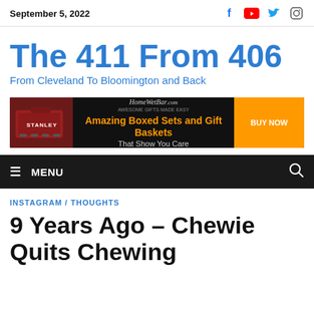September 5, 2022
The 411 From 406
From Cleveland To Bloomington and Back
[Figure (infographic): Advertisement banner for HomeWetBar.com: 'Amazing Boxed Sets and Gift Baskets That Show You Care' with a BUY NOW button and an image of Stanley tools/gift set on the left]
MENU
INSTAGRAM / THOUGHTS
9 Years Ago – Chewie Quits Chewing